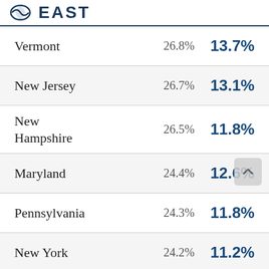EAST
| State | Pct1 | Pct2 |
| --- | --- | --- |
| Vermont | 26.8% | 13.7% |
| New Jersey | 26.7% | 13.1% |
| New Hampshire | 26.5% | 11.8% |
| Maryland | 24.4% | 12.6% |
| Pennsylvania | 24.3% | 11.8% |
| New York | 24.2% | 11.2% |
| Delaware (partial) | 23.8% | 10.4% |